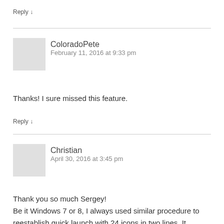Reply ↓
ColoradoPete
February 11, 2016 at 9:33 pm
Thanks! I sure missed this feature.
Reply ↓
Christian
April 30, 2016 at 3:45 pm
Thank you so much Sergey!
Be it Windows 7 or 8, I always used similar procedure to reestablish quick launch with 24 icons in two lines. It occupies